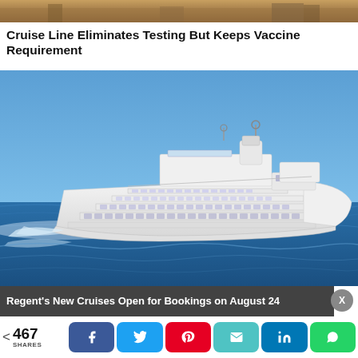[Figure (photo): Partial top image showing a coastal scene, cropped at top of page]
Cruise Line Eliminates Testing But Keeps Vaccine Requirement
[Figure (photo): A large white cruise ship sailing on blue ocean water under clear blue sky, aerial/side view]
Regent's New Cruises Open for Bookings on August 24
467 SHARES — Share buttons: Facebook, Twitter, Pinterest, Email, LinkedIn, WhatsApp